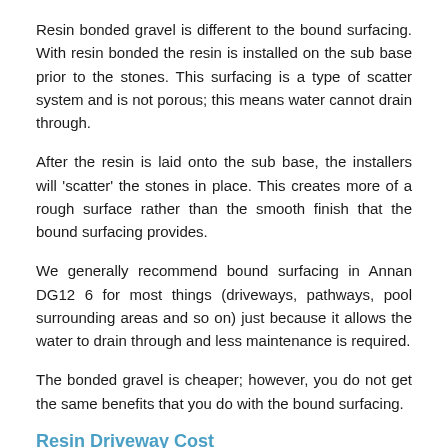Resin bonded gravel is different to the bound surfacing. With resin bonded the resin is installed on the sub base prior to the stones. This surfacing is a type of scatter system and is not porous; this means water cannot drain through.
After the resin is laid onto the sub base, the installers will 'scatter' the stones in place. This creates more of a rough surface rather than the smooth finish that the bound surfacing provides.
We generally recommend bound surfacing in Annan DG12 6 for most things (driveways, pathways, pool surrounding areas and so on) just because it allows the water to drain through and less maintenance is required.
The bonded gravel is cheaper; however, you do not get the same benefits that you do with the bound surfacing.
Resin Driveway Cost
There are a number of different factors which can alter the resin driveway cost. The most obvious factor is the size of the area. Obviously if you have a bigger area to surface, the price will be